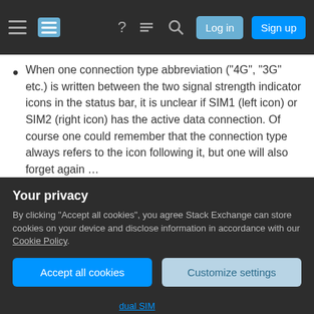Stack Exchange navigation bar with hamburger menu, logo, help, chat, search icons, Log in and Sign up buttons
When one connection type abbreviation ("4G", "3G" etc.) is written between the two signal strength indicator icons in the status bar, it is unclear if SIM1 (left icon) or SIM2 (right icon) has the active data connection. Of course one could remember that the connection type always refers to the icon following it, but one will also forget again …
On top, the layout of the SIM tray on some phones (e.g. Galaxy Note 9) is counterintuitive as the first SIM card is at the bottom, while in
Your privacy
By clicking "Accept all cookies", you agree Stack Exchange can store cookies on your device and disclose information in accordance with our Cookie Policy.
Accept all cookies   Customize settings